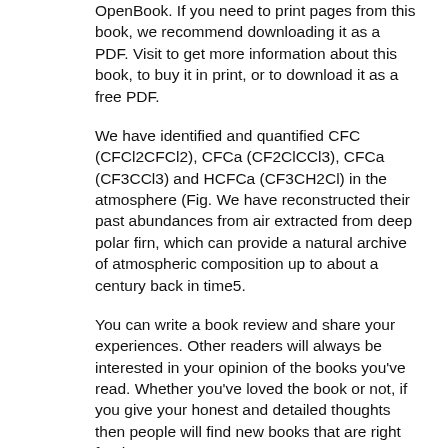OpenBook. If you need to print pages from this book, we recommend downloading it as a PDF. Visit to get more information about this book, to buy it in print, or to download it as a free PDF.
We have identified and quantified CFC (CFCl2CFCl2), CFCa (CF2ClCCl3), CFCa (CF3CCl3) and HCFCa (CF3CH2Cl) in the atmosphere (Fig. We have reconstructed their past abundances from air extracted from deep polar firn, which can provide a natural archive of atmospheric composition up to about a century back in time5.
You can write a book review and share your experiences. Other readers will always be interested in your opinion of the books you've read. Whether you've loved the book or not, if you give your honest and detailed thoughts then people will find new books that are right for them.
Climatic interpretation from the stable water isotope composition of firn-cores from the northern Emission of Biogenic Hydrocarbons from Antarctic Mosses: Implications for biosphere- ISBN ISBN Mini Symposium: Tropical Antarctic Teleconnections. August Accelerated ice flow near